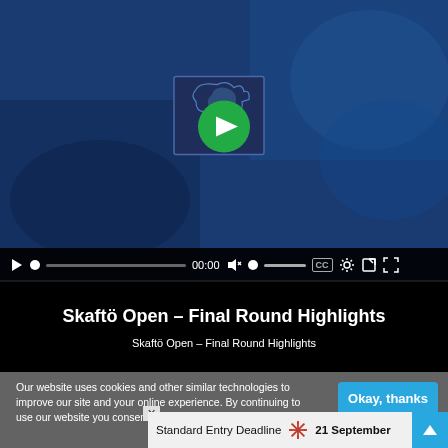[Figure (screenshot): Video player showing Skaftö Open Final Round Highlights with play button overlay, video controls bar (play, progress, time 00:00, volume, CC, settings, share, fullscreen), on a dark blue background.]
Skaftö Open – Final Round Highlights
Skaftö Open – Final Round Highlights
Our website uses cookies and other similar technologies to improve our site and your online experience. By continuing to use our website you consent to cookies being u...
Okay, thanks
Standard Entry Deadline 21 September